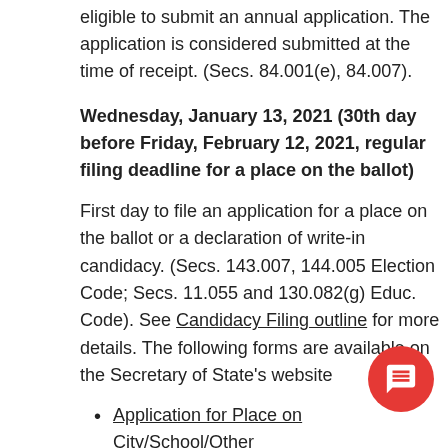eligible to submit an annual application. The application is considered submitted at the time of receipt. (Secs. 84.001(e), 84.007).
Wednesday, January 13, 2021 (30th day before Friday, February 12, 2021, regular filing deadline for a place on the ballot)
First day to file an application for a place on the ballot or a declaration of write-in candidacy. (Secs. 143.007, 144.005 Election Code; Secs. 11.055 and 130.082(g) Educ. Code). See Candidacy Filing outline for more details. The following forms are available on the Secretary of State's website
Application for Place on City/School/Other